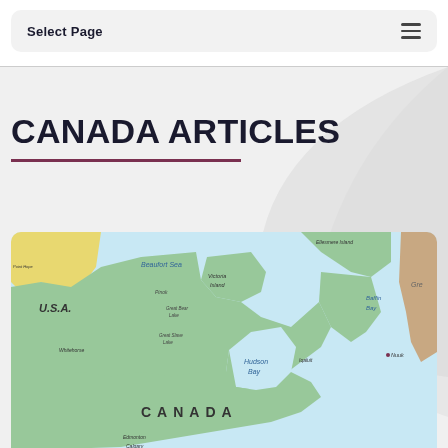Select Page
CANADA ARTICLES
[Figure (map): Map of Canada showing major geographical features including Beaufort Sea, Victoria Island, Baffin Bay, Hudson Bay, and labeling U.S.A. and Canada, with cities such as Whitehorse, Edmonton, Calgary visible at the bottom.]